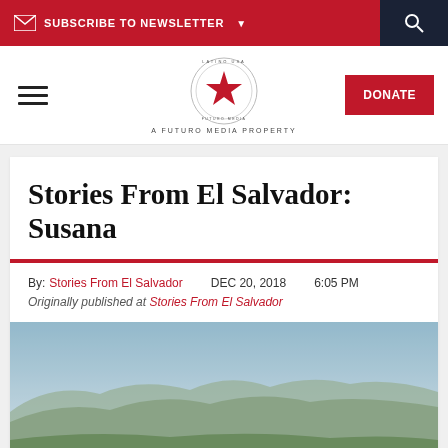SUBSCRIBE TO NEWSLETTER
[Figure (logo): Latino USA / Futuro Media circular logo with red star in center, text reads A FUTURO MEDIA PROPERTY]
Stories From El Salvador: Susana
By: Stories From El Salvador   DEC 20, 2018   6:05 PM
Originally published at Stories From El Salvador
[Figure (photo): Aerial landscape photograph of El Salvador showing green valleys and mountains under a blue hazy sky]